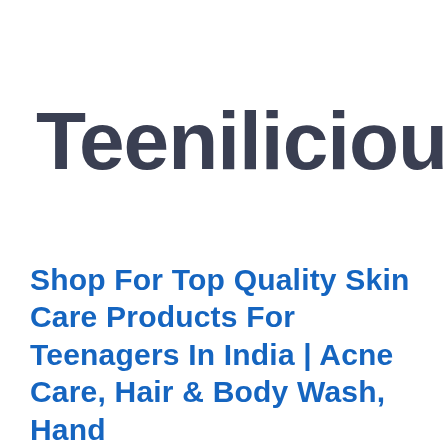[Figure (logo): Teenilicious brand logo in dark navy/charcoal color with registered trademark symbol]
Shop For Top Quality Skin Care Products For Teenagers In India | Acne Care, Hair & Body Wash, Hand